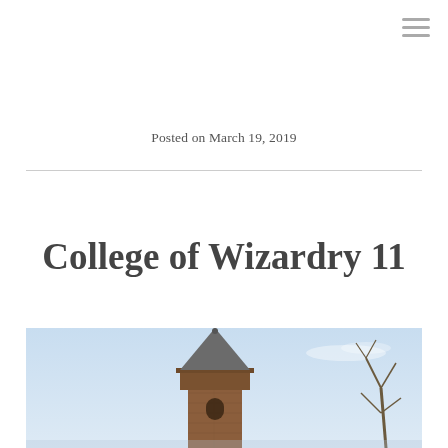☰
Posted on March 19, 2019
College of Wizardry 11
[Figure (photo): A medieval brick tower with a conical spire against a light blue sky, with bare tree branches visible on the right side.]